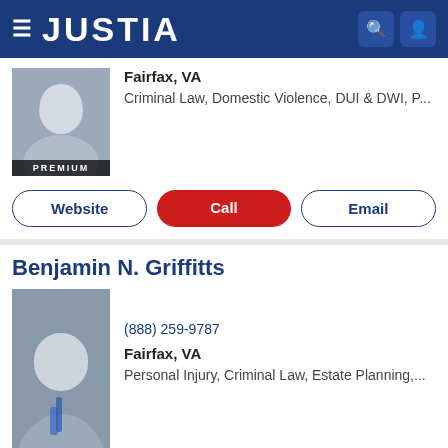JUSTIA
Fairfax, VA
Criminal Law, Domestic Violence, DUI & DWI, P...
Website | Call | Email
Benjamin N. Griffitts
(888) 259-9787
Fairfax, VA
Personal Injury, Criminal Law, Estate Planning,...
Website | Call | Email
Katherine Herrmann